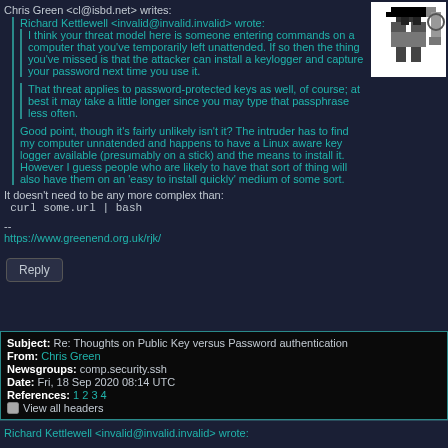[Figure (logo): Small pixelated icon/logo in top right corner showing a figure with a hat]
Chris Green <cl@isbd.net> writes:
Richard Kettlewell <invalid@invalid.invalid> wrote:
I think your threat model here is someone entering commands on a computer that you've temporarily left unattended. If so then the thing you've missed is that the attacker can install a keylogger and capture your password next time you use it.

That threat applies to password-protected keys as well, of course; at best it may take a little longer since you may type that passphrase less often.

Good point, though it's fairly unlikely isn't it? The intruder has to find my computer unnatended and happens to have a Linux aware key logger available (presumably on a stick) and the means to install it. However I guess people who are likely to have that sort of thing will also have them on an 'easy to install quickly' medium of some sort.

It doesn't need to be any more complex than:
  curl some.url | bash

--
https://www.greenend.org.uk/rjk/
Reply
| Subject: | Re: Thoughts on Public Key versus Password authentication |
| From: | Chris Green |
| Newsgroups: | comp.security.ssh |
| Date: | Fri, 18 Sep 2020 08:14 UTC |
| References: | 1 2 3 4 |
View all headers
Richard Kettlewell <invalid@invalid.invalid>